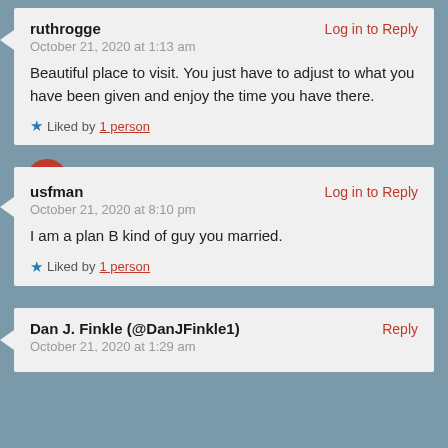ruthrogge
Log in to Reply
October 21, 2020 at 1:13 am
Beautiful place to visit. You just have to adjust to what you have been given and enjoy the time you have there.
Liked by 1 person
usfman
Log in to Reply
October 21, 2020 at 8:10 pm
I am a plan B kind of guy you married.
Liked by 1 person
Dan J. Finkle (@DanJFinkle1)
Reply
October 21, 2020 at 1:29 am